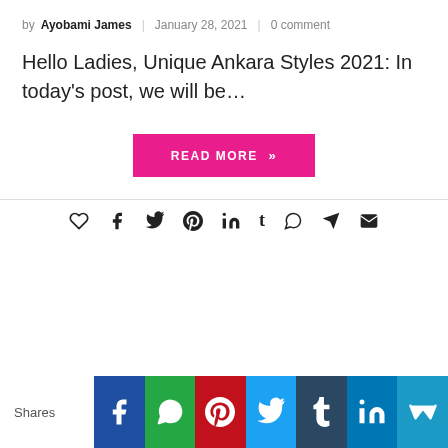by Ayobami James | January 28, 2021 | 0 comment
Hello Ladies, Unique Ankara Styles 2021: In today's post, we will be…
READ MORE »
[Figure (infographic): Social share icons row: heart, facebook, twitter, pinterest, linkedin, tumblr, whatsapp, telegram, email]
[Figure (infographic): Bottom share bar with Shares label and social network buttons: Facebook, WhatsApp, Pinterest, Twitter, Tumblr, LinkedIn, Mix]